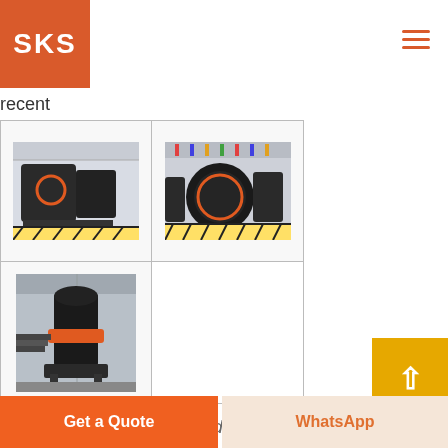SKS
recent
[Figure (photo): Industrial grinding machine in factory, side view with orange circle highlight]
[Figure (photo): Industrial grinding machine in factory, front/angled view with orange circle highlight]
[Figure (photo): Vertical grinding mill machine in factory setting]
design of the kubaka grindng circuit using spi and b
Get a Quote
WhatsApp